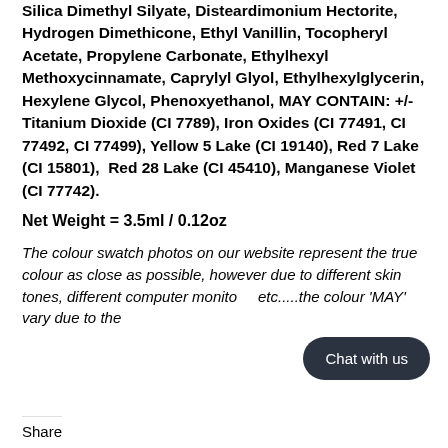Hydrogenated Polyisobutene, Synthetic Beeswax, Silica Dimethyl Silyate, Disteardimonium Hectorite, Hydrogen Dimethicone, Ethyl Vanillin, Tocopheryl Acetate, Propylene Carbonate, Ethylhexyl Methoxycinnamate, Caprylyl Glyol, Ethylhexylglycerin, Hexylene Glycol, Phenoxyethanol, MAY CONTAIN: +/- Titanium Dioxide (CI 7789), Iron Oxides (CI 77491, CI 77492, CI 77499), Yellow 5 Lake (CI 19140), Red 7 Lake (CI 15801), Red 28 Lake (CI 45410), Manganese Violet (CI 77742).
Net Weight = 3.5ml / 0.12oz
The colour swatch photos on our website represent the true colour as close as possible, however due to different skin tones, different computer monitors, etc.....the colour 'MAY' vary due to these.
Share